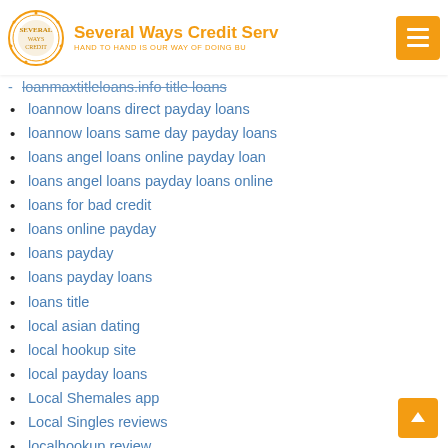Several Ways Credit Serv... HAND TO HAND IS OUR WAY OF DOING BU...
loanmaxtitleloans.info title loans
loannow loans direct payday loans
loannow loans same day payday loans
loans angel loans online payday loan
loans angel loans payday loans online
loans for bad credit
loans online payday
loans payday
loans payday loans
loans title
local asian dating
local hookup site
local payday loans
Local Shemales app
Local Singles reviews
localhookup review
Localmilfselfies kritik
Localmilfselfies login
localmilfselfies sign in
log in